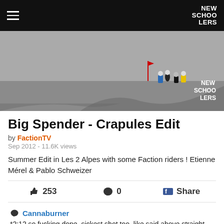NEW SCHOOLERS
[Figure (photo): Skiers on a snowy slope, video thumbnail for Big Spender - Crapules Edit with NEW SCHOOLERS watermark]
Big Spender - Crapules Edit
by FactionTV
Sep 2012 - 11.6K views
Summer Edit in Les 2 Alpes with some Faction riders ! Etienne Mérel & Pablo Schweizer
👍 253   💬 0   Share
Cannaburner
*2:12 so fucking dope, sickest shot too, like said above straight DOUGH
officer-lahey